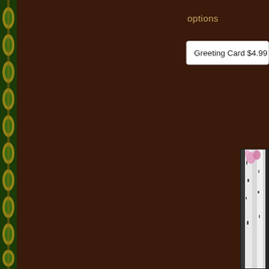[Figure (illustration): Left side decorative strip with gold/green floral ornamental pattern on dark background]
options
Greeting Card $4.99
[Figure (illustration): Partially visible greeting card image at bottom right with pink flowers and birch tree trunks on white/grey background]